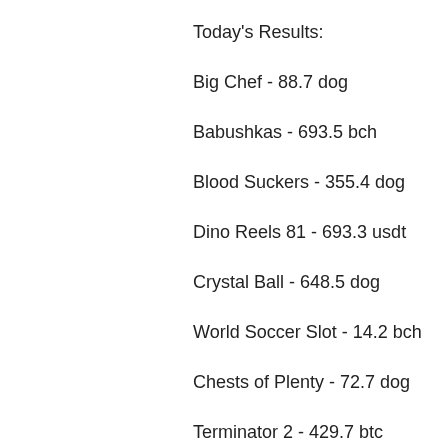Today's Results:
Big Chef - 88.7 dog
Babushkas - 693.5 bch
Blood Suckers - 355.4 dog
Dino Reels 81 - 693.3 usdt
Crystal Ball - 648.5 dog
World Soccer Slot - 14.2 bch
Chests of Plenty - 72.7 dog
Terminator 2 - 429.7 btc
Crystal Ball Red Hot Firepot - 631.7 eth
Indiana's Quest - 8.6 ltc
Diamonds Downunder - 466.1 usdt
Wild Shark - 403.2 btc
Hot Ink - 269.1 dog
Disc of Athena - 596 bch
Arcade - 219.3 eth
Popular Slots:
King Billy Casino Razortooth
Betchan Casino Frost Dragon